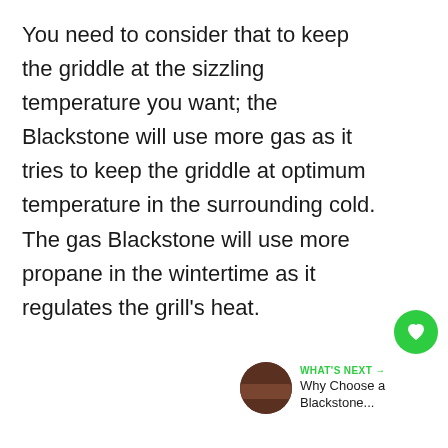You need to consider that to keep the griddle at the sizzling temperature you want; the Blackstone will use more gas as it tries to keep the griddle at optimum temperature in the surrounding cold. The gas Blackstone will use more propane in the wintertime as it regulates the grill's heat.